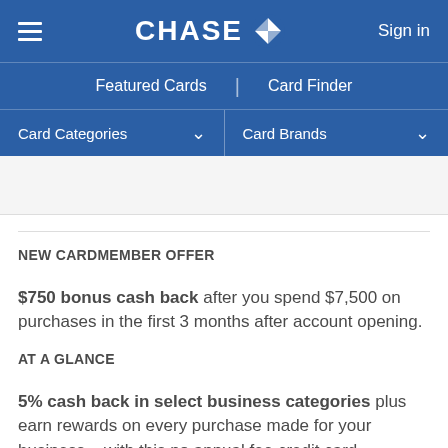CHASE — Sign in — Featured Cards | Card Finder — Card Categories | Card Brands
NEW CARDMEMBER OFFER
$750 bonus cash back after you spend $7,500 on purchases in the first 3 months after account opening.
AT A GLANCE
5% cash back in select business categories plus earn rewards on every purchase made for your business – with this no annual fee credit card
APR
0% intro APR for 12 months from account opening on